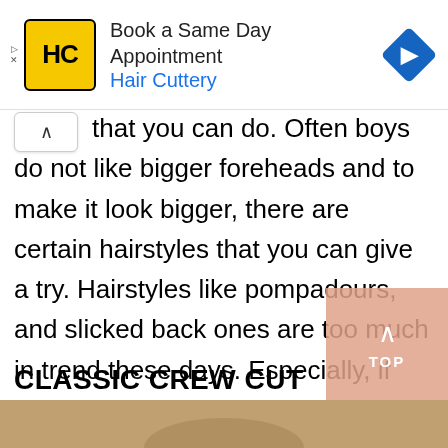[Figure (screenshot): Hair Cuttery advertisement banner with yellow HC logo, text 'Book a Same Day Appointment / Hair Cuttery', and blue diamond navigation icon on the right]
that you can do. Often boys do not like bigger foreheads and to make it look bigger, there are certain hairstyles that you can give a try. Hairstyles like pompadours, and slicked back ones are too much in trend these days. Especially, if you incline the formal and minimalist look, such a hairstyle is the one.
CLASSIC CREW CUT
[Figure (photo): Bottom strip showing the top of a photo, tan/brown tones, partially visible]